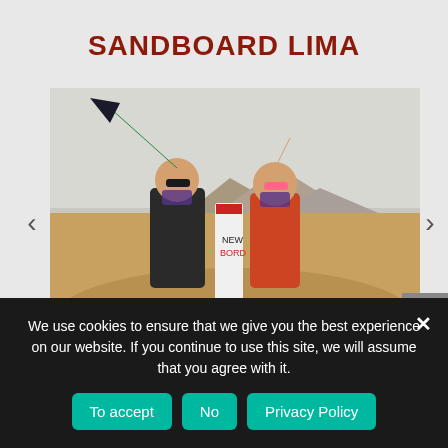SANDBOARD LIMA
[Figure (photo): Two women celebrating on a sand dune, one holding a kite/parasail and the other raising her fist. One holds a sandboard with 'NEW BOARD R' visible. Sandy desert landscape with mountains in background.]
We use cookies to ensure that we give you the best experience on our website. If you continue to use this site, we will assume that you agree with it.
To accept
No
Privacy Policy